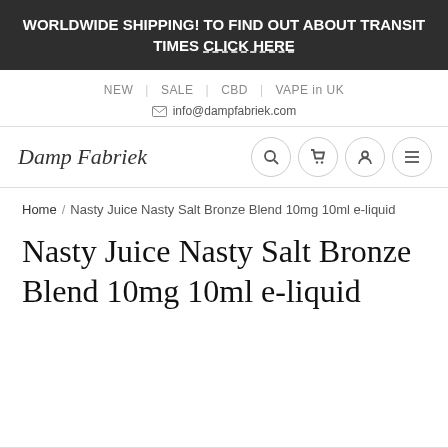WORLDWIDE SHIPPING! TO FIND OUT ABOUT TRANSIT TIMES CLICK HERE
NEW | SALE | CBD | VAPE in UK
info@dampfabriek.com
Damp Fabriek
Home / Nasty Juice Nasty Salt Bronze Blend 10mg 10ml e-liquid
Nasty Juice Nasty Salt Bronze Blend 10mg 10ml e-liquid